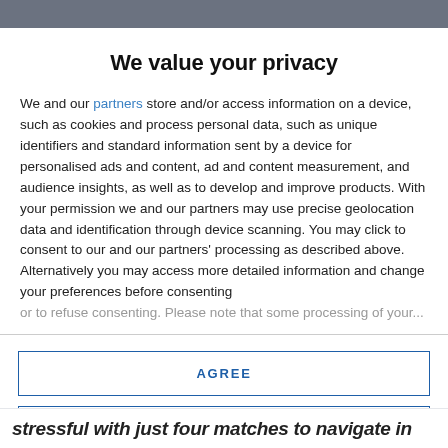We value your privacy
We and our partners store and/or access information on a device, such as cookies and process personal data, such as unique identifiers and standard information sent by a device for personalised ads and content, ad and content measurement, and audience insights, as well as to develop and improve products. With your permission we and our partners may use precise geolocation data and identification through device scanning. You may click to consent to our and our partners' processing as described above. Alternatively you may access more detailed information and change your preferences before consenting or to refuse consenting. Please note that some processing of your...
AGREE
MORE OPTIONS
stressful with just four matches to navigate in